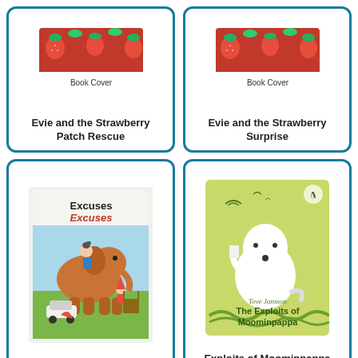[Figure (illustration): Book cover for 'Evie and the Strawberry Patch Rescue' with strawberry imagery at top]
Evie and the Strawberry Patch Rescue
[Figure (illustration): Book cover for 'Evie and the Strawberry Surprise' with strawberry imagery at top]
Evie and the Strawberry Surprise
[Figure (illustration): Book cover for 'Excuses Excuses' showing an elephant with a boy on top, a gnome, and a small car]
Excuses, Excuses
[Figure (illustration): Book cover for 'The Exploits of Moominpappa' by Tove Jansson, showing Moomintroll on a green background]
Exploits of Moominpappa (The)
[Figure (illustration): Partial book cover showing eye illustration and text 'BCRUC TULLEY']
[Figure (illustration): Partial book cover showing a bird on a tree branch with pink/purple background]